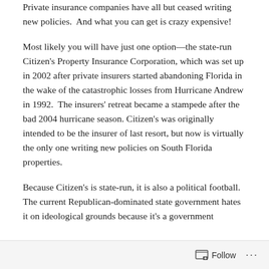Private insurance companies have all but ceased writing new policies.  And what you can get is crazy expensive!
Most likely you will have just one option—the state-run Citizen's Property Insurance Corporation, which was set up in 2002 after private insurers started abandoning Florida in the wake of the catastrophic losses from Hurricane Andrew in 1992.  The insurers' retreat became a stampede after the bad 2004 hurricane season. Citizen's was originally intended to be the insurer of last resort, but now is virtually the only one writing new policies on South Florida properties.
Because Citizen's is state-run, it is also a political football. The current Republican-dominated state government hates it on ideological grounds because it's a government
Follow